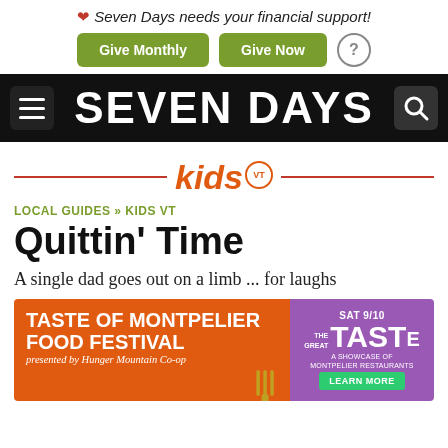❤ Seven Days needs your financial support! Give Monthly | Give Now | ?
SEVEN DAYS
[Figure (logo): Kids VT logo with orange italic text and VT badge, flanked by red horizontal rules]
LOCAL GUIDES » KIDS VT
Quittin' Time
A single dad goes out on a limb ... for laughs
[Figure (infographic): Advertisement: Taste of Montpelier Food Festival presented by Hunger Mountain Co-op, Friday September 9 - Sunday September 11, SAT 9/10, The Great Taste, A Showcase of Montpelier Restaurants, Learn More]